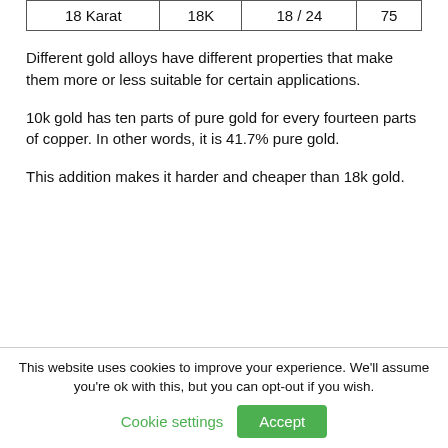| 18 Karat | 18K | 18 / 24 | 75 |
Different gold alloys have different properties that make them more or less suitable for certain applications.
10k gold has ten parts of pure gold for every fourteen parts of copper. In other words, it is 41.7% pure gold.
This addition makes it harder and cheaper than 18k gold.
This website uses cookies to improve your experience. We'll assume you're ok with this, but you can opt-out if you wish.
Cookie settings | Accept